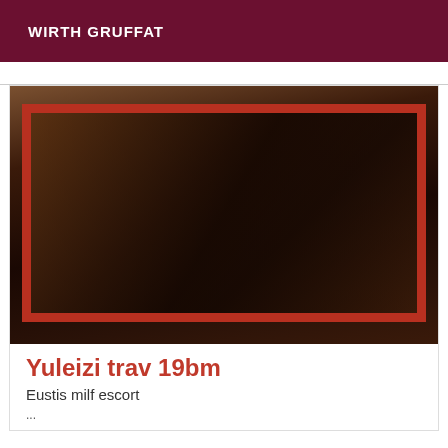WIRTH GRUFFAT
[Figure (photo): Mirror selfie photo of a person in a dark outfit with stockings, reflected in a red-framed mirror.]
Yuleizi trav 19bm
Eustis milf escort
...